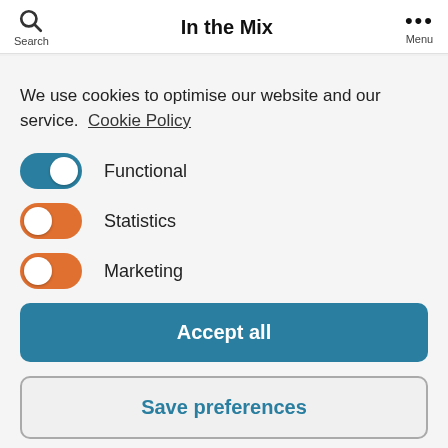In the Mix — Search / Menu
We use cookies to optimise our website and our service. Cookie Policy
Functional (toggle on, blue)
Statistics (toggle on, orange)
Marketing (toggle on, orange)
Accept all
Save preferences
No Comments